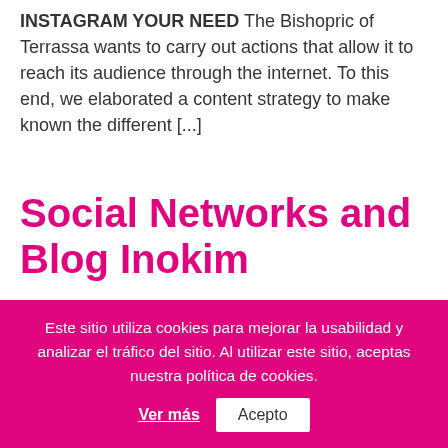INSTAGRAM YOUR NEED The Bishopric of Terrassa wants to carry out actions that allow it to reach its audience through the internet. To this end, we elaborated a content strategy to make known the different [...]
Social Networks and Blog Inokim
[Figure (photo): Three people outdoors near a stone wall: a man with a bicycle on the left, a woman in a red jacket in the center, and a man on the right.]
Este sitio utiliza cookies para mejorar la usabilidad y analizar el tráfico del sitio. Al utilizar este sitio, aceptas nuestra política de cookies.  Ver más  Acepto